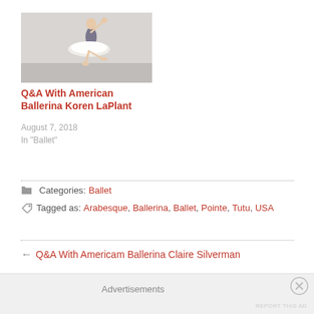[Figure (photo): Ballet dancer in white tutu performing arabesque in a studio]
Q&A With American Ballerina Koren LaPlant
August 7, 2018
In "Ballet"
Categories: Ballet
Tagged as: Arabesque, Ballerina, Ballet, Pointe, Tutu, USA
← Q&A With Americam Ballerina Claire Silverman
Advertisements